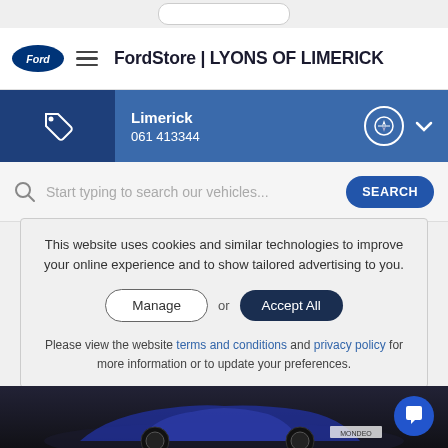[Figure (screenshot): Top address bar pill element on mobile browser]
FordStore | LYONS OF LIMERICK
Limerick
061 413344
Start typing to search our vehicles...
This website uses cookies and similar technologies to improve your online experience and to show tailored advertising to you.
Manage or Accept All
Please view the website terms and conditions and privacy policy for more information or to update your preferences.
[Figure (photo): Dark blue Ford Mondeo car on dark background, bottom of page]